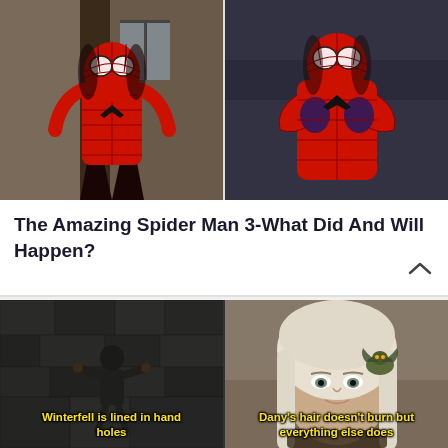[Figure (photo): Two Spider-Man costume images side by side: left shows Amazing Spider-Man in red/black suit standing, right shows another Spider-Man in red/blue suit with arms crossed]
The Amazing Spider Man 3-What Did And Will Happen?
[Figure (photo): Two Game of Thrones meme images side by side: left shows person climbing stone wall at Winterfell with caption 'Winterfell is lined in hand holes', right shows Daenerys with small dragon with caption 'Dany's hair doesn't burn but everything else does']